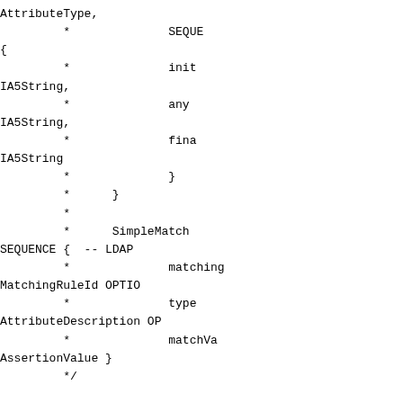AttributeType,
         *              SEQUENCE
{
         *              init
IA5String,
         *              any
IA5String,
         *              fina
IA5String
         *              }
         *      }
         *
         *      SimpleMatch
SEQUENCE {  -- LDAP
         *              matching
MatchingRuleId OPTION
         *              type
AttributeDescription OP
         *              matchVa
AssertionValue }
         */


        ValuesReturnFilter
        ber_tag_t       tag;
        ber_len_t       len;
        char            *lstu